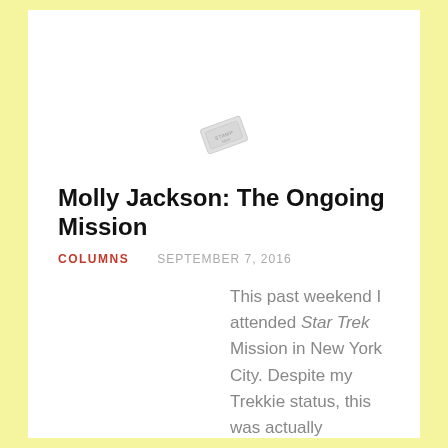[Figure (illustration): Small rotated stamp or label graphic, light gray, partially showing text]
Molly Jackson: The Ongoing Mission
COLUMNS    SEPTEMBER 7, 2016
This past weekend I attended Star Trek Mission in New York City. Despite my Trekkie status, this was actually